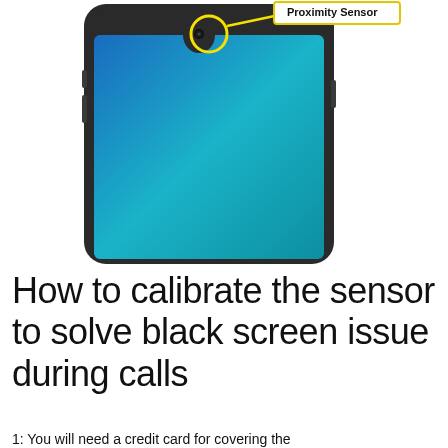[Figure (photo): Photo of the top portion of a smartphone showing a blue-tinted screen with a waterdrop notch. A yellow circle highlights the proximity sensor near the notch, with a yellow arrow pointing to a label reading 'Proximity Sensor' in bold text inside a yellow-bordered box at the top right.]
How to calibrate the sensor to solve black screen issue during calls
1: You will need a credit card for covering the